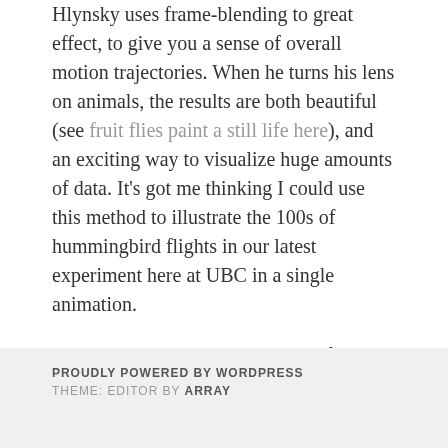Hlynsky uses frame-blending to great effect, to give you a sense of overall motion trajectories. When he turns his lens on animals, the results are both beautiful (see fruit flies paint a still life here), and an exciting way to visualize huge amounts of data. It's got me thinking I could use this method to illustrate the 100s of hummingbird flights in our latest experiment here at UBC in a single animation.

Thanks to Suzanne Amador Kane for pointing these out to me!
PROUDLY POWERED BY WORDPRESS
THEME: EDITOR BY ARRAY